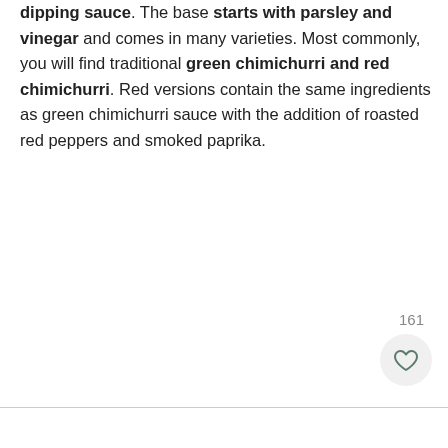dipping sauce. The base starts with parsley and vinegar and comes in many varieties. Most commonly, you will find traditional green chimichurri and red chimichurri. Red versions contain the same ingredients as green chimichurri sauce with the addition of roasted red peppers and smoked paprika.
161